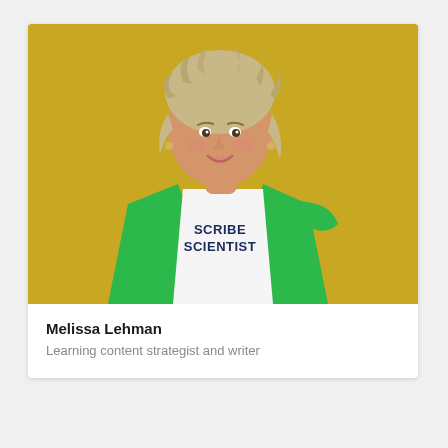[Figure (photo): Photo of Melissa Lehman, a woman with curly blonde hair, smiling, wearing a green cardigan over a white t-shirt that reads 'SCRIBE SCIENTIST', posed against a yellow-green background.]
Melissa Lehman
Learning content strategist and writer